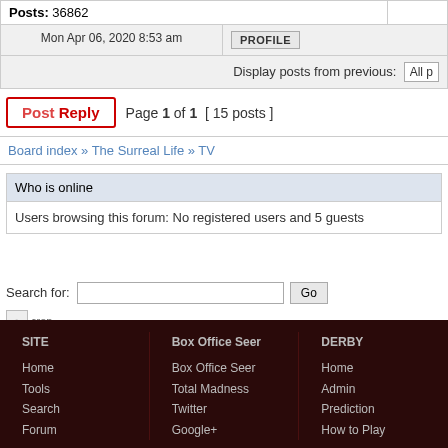| Posts: 36862 |  |
| Mon Apr 06, 2020 8:53 am | PROFILE |
| Display posts from previous: | All p |
Post Reply  Page 1 of 1  [ 15 posts ]
Board index » The Surreal Life » TV
Who is online
Users browsing this forum: No registered users and 5 guests
Search for:  Go
Powered by phpB  Des
SITE
Home
Tools
Search
Forum
Box Office Seer
Box Office Seer
Total Madness
Twitter
Google+
DERBY
Home
Admin
Prediction
How to Play